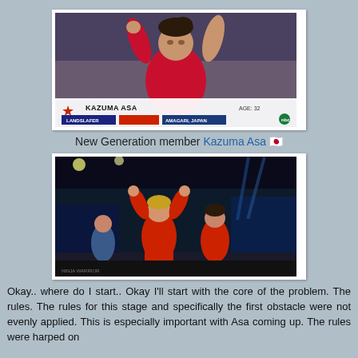[Figure (photo): TV screenshot of a Japanese wrestler/athlete named Kazuma Asa celebrating with arms raised, wearing red outfit. Lower third graphic shows: red star, 'KAZUMA ASA', 'AGE: 32', 'LANDSLAFER', 'AMAGARI, JAPAN', NBC logo.]
New Generation member Kazuma Asa 🇯🇵
[Figure (photo): Night event screenshot showing athletes in red uniforms celebrating at what appears to be a competition venue with blue lighting and crowd in background.]
Okay.. where do I start.. Okay I'll start with the core of the problem.  The rules.  The rules for this stage and specifically the first obstacle were not evenly applied.  This is especially important with Asa coming up.  The rules were harped on